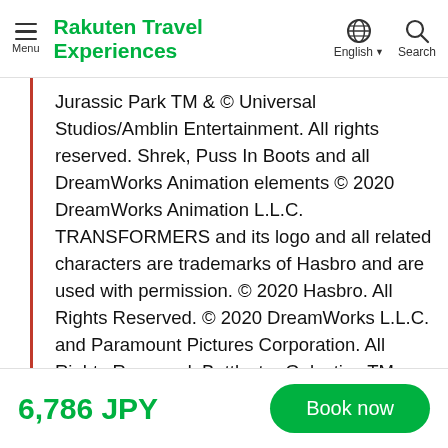Menu | Rakuten Travel Experiences | English | Search
Jurassic Park TM & © Universal Studios/Amblin Entertainment. All rights reserved. Shrek, Puss In Boots and all DreamWorks Animation elements © 2020 DreamWorks Animation L.L.C. TRANSFORMERS and its logo and all related characters are trademarks of Hasbro and are used with permission. © 2020 Hasbro. All Rights Reserved. © 2020 DreamWorks L.L.C. and Paramount Pictures Corporation. All Rights Reserved. Battlestar Galactica TM Universal Studios & © 2020 Universal Cable Productions LLC. All rights reserved. Sesame Street TM and associated characters, trademarks and design
6,786 JPY | Book now